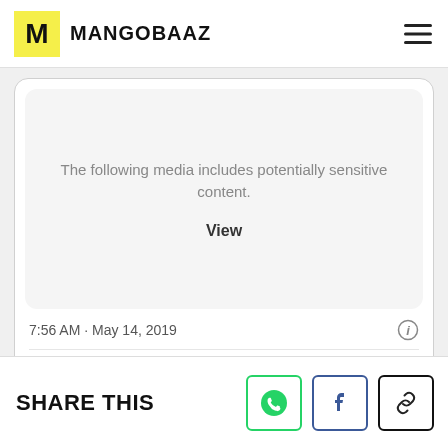MANGOBAAZ
[Figure (screenshot): Embedded tweet card showing sensitive media warning. Text reads: 'The following media includes potentially sensitive content.' with a 'View' button. Timestamp: 7:56 AM · May 14, 2019. Actions: 1 like, Reply, Copy link. Explore what's happening on Twitter button.]
7:56 AM · May 14, 2019
1  Reply  Copy link
Explore what's happening on Twitter
SHARE THIS